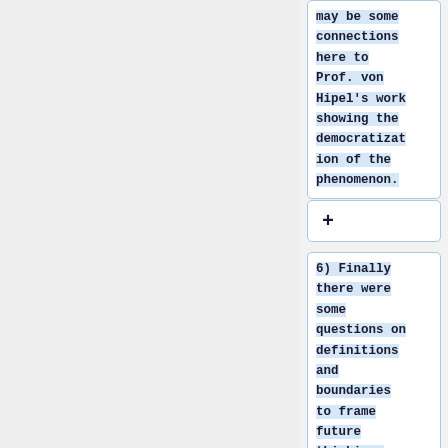may be some connections here to Prof. von Hipel's work showing the democratization of the phenomenon.
+
6) Finally there were some questions on definitions and boundaries to frame future thinking. How do we...